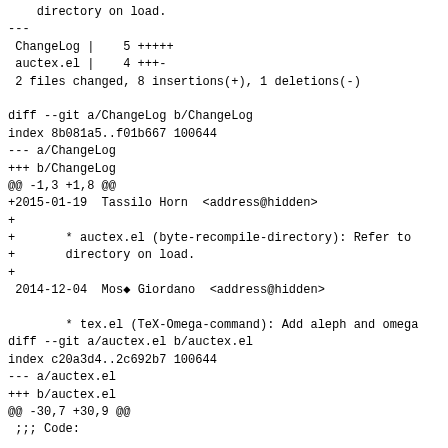directory on load.
---
 ChangeLog |    5 +++++
 auctex.el |    4 +++-
 2 files changed, 8 insertions(+), 1 deletions(-)

diff --git a/ChangeLog b/ChangeLog
index 8b081a5..f01b667 100644
--- a/ChangeLog
+++ b/ChangeLog
@@ -1,3 +1,8 @@
+2015-01-19  Tassilo Horn  <address@hidden>
+
+       * auctex.el (byte-recompile-directory): Refer to
+       directory on load.
+
 2014-12-04  Mosè Giordano  <address@hidden>

        * tex.el (TeX-Omega-command): Add aleph and omega
diff --git a/auctex.el b/auctex.el
index c20a3d4..2c692b7 100644
--- a/auctex.el
+++ b/auctex.el
@@ -30,7 +30,9 @@
 ;;; Code:

 (eval-when-compile
-  (byte-recompile-directory "style/" 0))
+  (byte-recompile-directory
+   (expand-file-name "style/"